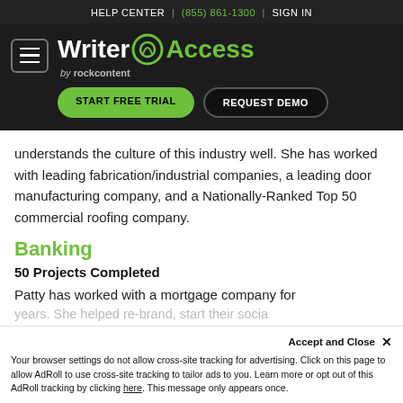HELP CENTER  |  (855) 861-1300  |  SIGN IN
[Figure (logo): WriterAccess by rockcontent logo with hamburger menu, START FREE TRIAL and REQUEST DEMO buttons on dark background]
understands the culture of this industry well. She has worked with leading fabrication/industrial companies, a leading door manufacturing company, and a Nationally-Ranked Top 50 commercial roofing company.
Banking
50 Projects Completed
Patty has worked with a mortgage company for years. She helped re-brand, start their social... target Realtors and
Accept and Close ×
Your browser settings do not allow cross-site tracking for advertising. Click on this page to allow AdRoll to use cross-site tracking to tailor ads to you. Learn more or opt out of this AdRoll tracking by clicking here. This message only appears once.